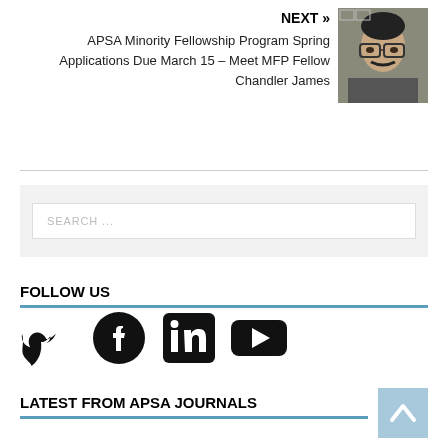NEXT »
APSA Minority Fellowship Program Spring Applications Due March 15 – Meet MFP Fellow Chandler James
[Figure (photo): Headshot photo of Chandler James, a man with glasses and a mustache]
[Figure (other): Search box with placeholder text SEARCH ...]
FOLLOW US
[Figure (infographic): Social media icons: Twitter, Facebook, LinkedIn, YouTube]
LATEST FROM APSA JOURNALS
[Figure (other): Back to top arrow button (light blue square with upward chevron)]